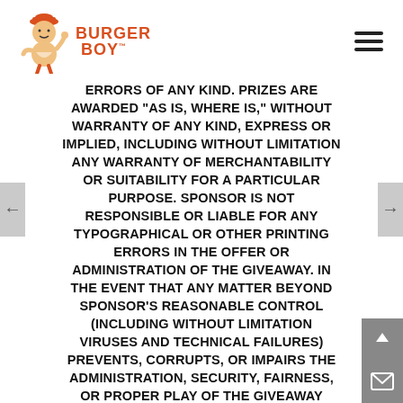[Figure (logo): Burger Boy logo with cartoon mascot character in orange/red and text 'BURGER BOY']
ERRORS OF ANY KIND. PRIZES ARE AWARDED "AS IS, WHERE IS," WITHOUT WARRANTY OF ANY KIND, EXPRESS OR IMPLIED, INCLUDING WITHOUT LIMITATION ANY WARRANTY OF MERCHANTABILITY OR SUITABILITY FOR A PARTICULAR PURPOSE. SPONSOR IS NOT RESPONSIBLE OR LIABLE FOR ANY TYPOGRAPHICAL OR OTHER PRINTING ERRORS IN THE OFFER OR ADMINISTRATION OF THE GIVEAWAY. IN THE EVENT THAT ANY MATTER BEYOND SPONSOR'S REASONABLE CONTROL (INCLUDING WITHOUT LIMITATION VIRUSES AND TECHNICAL FAILURES) PREVENTS, CORRUPTS, OR IMPAIRS THE ADMINISTRATION, SECURITY, FAIRNESS, OR PROPER PLAY OF THE GIVEAWAY SUCH THAT IT CANNOT BE CONDUCTED AS ORIGINALLY PLANNED, SPONSOR RESERVES THE RIGHT TO CANCEL, TERMINATE, MODIFY OR SUSPEND THE GIVEAWAY AT